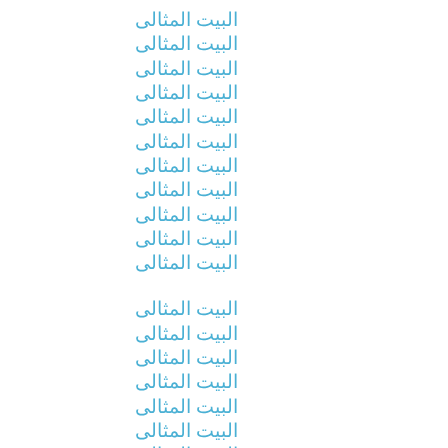البيت المثالى
البيت المثالى
البيت المثالى
البيت المثالى
البيت المثالى
البيت المثالى
البيت المثالى
البيت المثالى
البيت المثالى
البيت المثالى
البيت المثالى
البيت المثالى
البيت المثالى
البيت المثالى
البيت المثالى
البيت المثالى
البيت المثالى
البيت المثالى
البيت المثالى
البيت المثالى
البيت المثالى
البيت المثالى